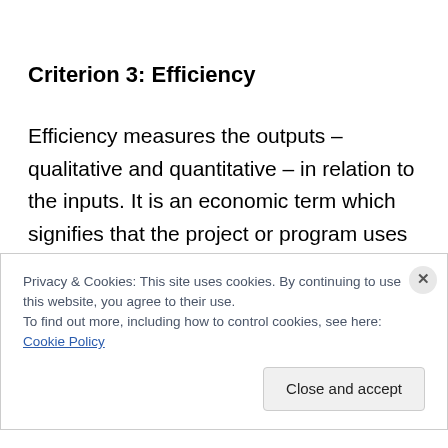Criterion 3: Efficiency
Efficiency measures the outputs – qualitative and quantitative – in relation to the inputs. It is an economic term which signifies that the project or program uses the least costly technology approach (including both the tech itself, and what it takes to sustain and use it) possible in order to achieve the desired results. This generally
Privacy & Cookies: This site uses cookies. By continuing to use this website, you agree to their use.
To find out more, including how to control cookies, see here: Cookie Policy